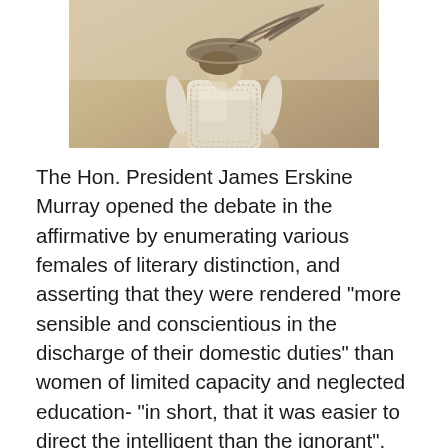[Figure (photo): A historical photograph or painting of a woman in Victorian-era dress with feathered hat, shown from behind/side, wearing white lace or embroidered garments.]
The Hon. President James Erskine Murray opened the debate in the affirmative by enumerating various females of literary distinction, and asserting that they were rendered “more sensible and conscientious in the discharge of their domestic duties” than women of limited capacity and neglected education- “in short, that it was easier to direct the intelligent than the ignorant”. The respondent, Mr Osbourne, contended that woman was not by nature intended mentally or physically to sustain the labour of acquiring that superior extent of knowledge, and that it would interfere with her devotion to domestic affairs. Women would no longer be fascinated by respected individuals of the other sex “upon whose opinions she